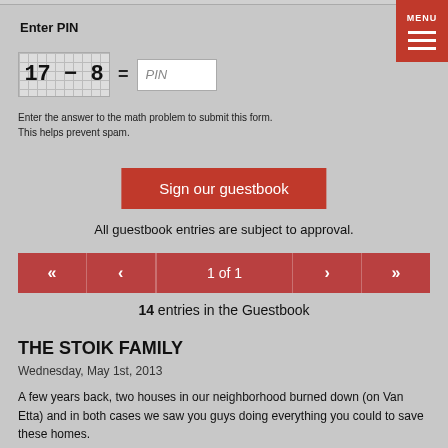Enter PIN
17 − 8 = PIN
Enter the answer to the math problem to submit this form.
This helps prevent spam.
Sign our guestbook
All guestbook entries are subject to approval.
« < 1 of 1 > »
14 entries in the Guestbook
THE STOIK FAMILY
Wednesday, May 1st, 2013
A few years back, two houses in our neighborhood burned down (on Van Etta) and in both cases we saw you guys doing everything you could to save these homes.
We really appreciate your bravery and your service!
We were so sorry to hear about the loss of both fire fighters. Our hearts go out to you and their families.